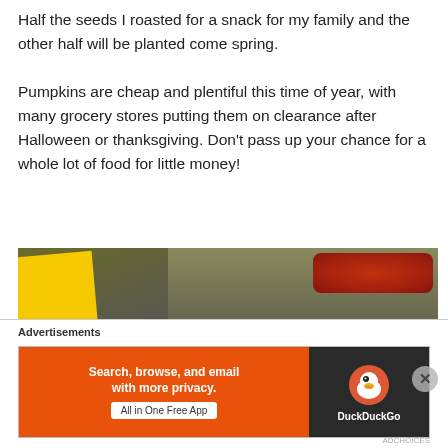Half the seeds I roasted for a snack for my family and the other half will be planted come spring.

Pumpkins are cheap and plentiful this time of year, with many grocery stores putting them on clearance after Halloween or thanksgiving. Don't pass up your chance for a whole lot of food for little money!
[Figure (photo): Photo of a yellow freezer bag box labeled 'congélation' rotated sideways, next to a metal baking pan with roasted seeds or red food items visible in the background.]
Advertisements
[Figure (screenshot): DuckDuckGo advertisement banner: orange left side reads 'Search, browse, and email with more privacy. All in One Free App', black right side shows DuckDuckGo duck logo and name.]